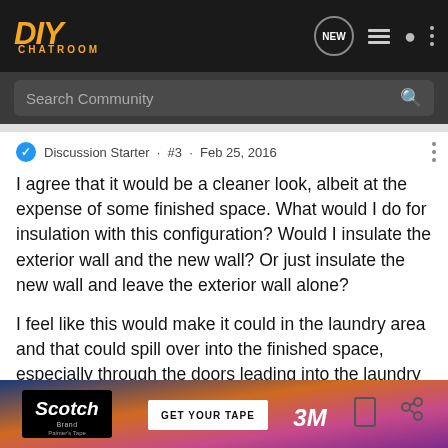DIY CHATROOM — navigation bar with logo, NEW bubble, list icon, user icon, menu dots
Search Community
Discussion Starter · #3 · Feb 25, 2016
I agree that it would be a cleaner look, albeit at the expense of some finished space. What would I do for insulation with this configuration? Would I insulate the exterior wall and the new wall? Or just insulate the new wall and leave the exterior wall alone?
I feel like this would make it could in the laundry area and that could spill over into the finished space, especially through the doors leading into the laundry area.
[Figure (photo): Scotch Brand Painter's Tape advertisement banner with GET YOUR TAPE button and 3M logo]